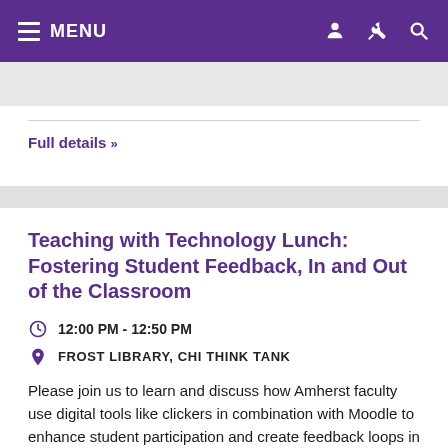MENU
Full details »
Teaching with Technology Lunch: Fostering Student Feedback, In and Out of the Classroom
12:00 PM - 12:50 PM
FROST LIBRARY, CHI THINK TANK
Please join us to learn and discuss how Amherst faculty use digital tools like clickers in combination with Moodle to enhance student participation and create feedback loops in synchronous and asynchronous settings.